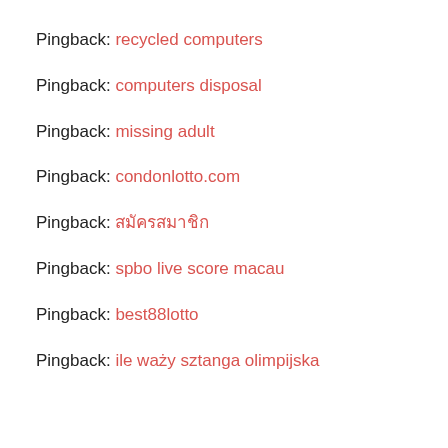Pingback: recycled computers
Pingback: computers disposal
Pingback: missing adult
Pingback: condonlotto.com
Pingback: สมัครสมาชิก
Pingback: spbo live score macau
Pingback: best88lotto
Pingback: ile waży sztanga olimpijska